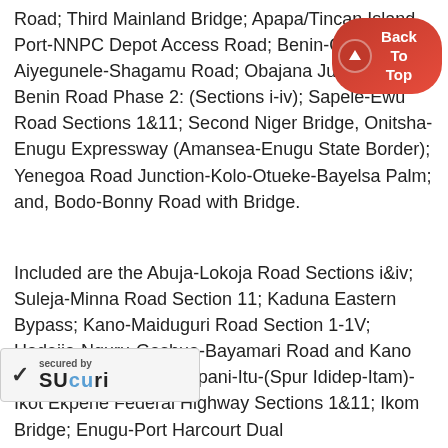Road; Third Mainland Bridge; Apapa/Tincan Island Port-NNPC Depot Access Road; Benin-Ofos… Aiyegunele-Shagamu Road; Obajana Junction-Benin Road Phase 2: (Sections i-iv); Sapele-Ewu Road Sections 1&11; Second Niger Bridge, Onitsha-Enugu Expressway (Amansea-Enugu State Border); Yenegoa Road Junction-Kolo-Otueke-Bayelsa Palm; and, Bodo-Bonny Road with Bridge.
Included are the Abuja-Lokoja Road Sections i&iv; Suleja-Minna Road Section 11; Kaduna Eastern Bypass; Kano-Maiduguri Road Section 1-1V; Hadejia-Nguru-Gashua-Bayamari Road and Kano Western Bypass; Odukpani-Itu-(Spur Ididep-Itam)-Ikot Ekpene Federal Highway Sections 1&11; Ikom Bridge; Enugu-Port Harcourt Dual … Sections i-iv; Calabar-Ugep-Katsina-Ala Road; Vandeikya-Obudu-Obudu Cattle Ranch Road;